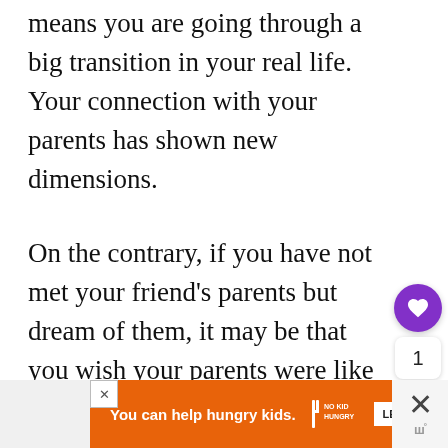means you are going through a big transition in your real life. Your connection with your parents has shown new dimensions.
On the contrary, if you have not met your friend's parents but dream of them, it may be that you wish your parents were like them.
[Figure (other): Orange advertisement banner reading 'You can help hungry kids.' with No Kid Hungry logo and 'LEARN HOW' button. Also shows UI elements: heart/like button (purple circle), share button, count '1', three dots, close buttons, and Wattpad-style branding.]